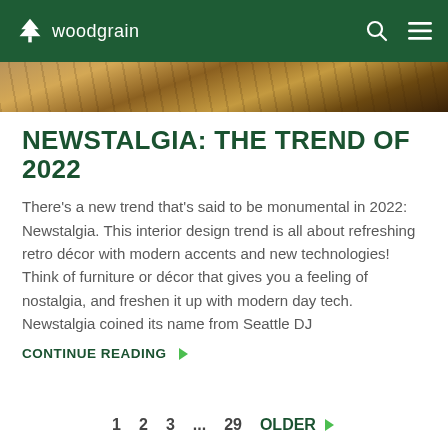woodgrain
[Figure (photo): Hero image showing wood floor/furniture in warm brown tones]
NEWSTALGIA: THE TREND OF 2022
There's a new trend that's said to be monumental in 2022: Newstalgia. This interior design trend is all about refreshing retro décor with modern accents and new technologies! Think of furniture or décor that gives you a feeling of nostalgia, and freshen it up with modern day tech. Newstalgia coined its name from Seattle DJ
CONTINUE READING ▶
1   2   3   ...   29   OLDER ▶